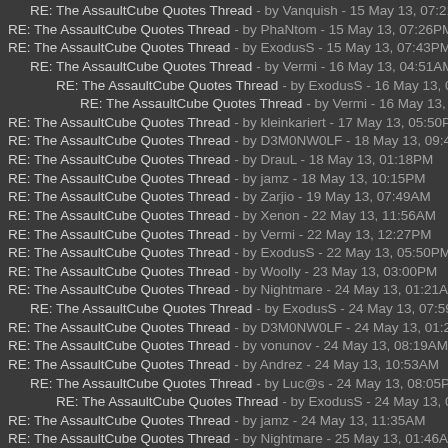RE: The AssaultCube Quotes Thread - by Vanquish - 15 May 13, 07:21PM
RE: The AssaultCube Quotes Thread - by PhaNtom - 15 May 13, 07:26PM
RE: The AssaultCube Quotes Thread - by ExodusS - 15 May 13, 07:43PM
RE: The AssaultCube Quotes Thread - by Vermi - 16 May 13, 04:51AM
RE: The AssaultCube Quotes Thread - by ExodusS - 16 May 13, 09:29AM
RE: The AssaultCube Quotes Thread - by Vermi - 16 May 13, 11:12AM
RE: The AssaultCube Quotes Thread - by kleinkariert - 17 May 13, 05:50PM
RE: The AssaultCube Quotes Thread - by D3M0NW0LF - 18 May 13, 09:45AM
RE: The AssaultCube Quotes Thread - by DrauL - 18 May 13, 01:18PM
RE: The AssaultCube Quotes Thread - by jamz - 18 May 13, 10:15PM
RE: The AssaultCube Quotes Thread - by Zarjio - 19 May 13, 07:49AM
RE: The AssaultCube Quotes Thread - by Xenon - 22 May 13, 11:56AM
RE: The AssaultCube Quotes Thread - by Vermi - 22 May 13, 12:27PM
RE: The AssaultCube Quotes Thread - by ExodusS - 22 May 13, 05:50PM
RE: The AssaultCube Quotes Thread - by Woolly - 23 May 13, 03:00PM
RE: The AssaultCube Quotes Thread - by Nightmare - 24 May 13, 01:21AM
RE: The AssaultCube Quotes Thread - by ExodusS - 24 May 13, 07:59AM
RE: The AssaultCube Quotes Thread - by D3M0NW0LF - 24 May 13, 01:28AM
RE: The AssaultCube Quotes Thread - by vonunov - 24 May 13, 08:19AM
RE: The AssaultCube Quotes Thread - by Andrez - 24 May 13, 10:53AM
RE: The AssaultCube Quotes Thread - by Luc@s - 24 May 13, 08:05PM
RE: The AssaultCube Quotes Thread - by ExodusS - 24 May 13, 08:41PM
RE: The AssaultCube Quotes Thread - by jamz - 24 May 13, 11:35AM
RE: The AssaultCube Quotes Thread - by Nightmare - 25 May 13, 01:46AM
RE: The AssaultCube Quotes Thread - by Million - 25 May 13, 08:30AM